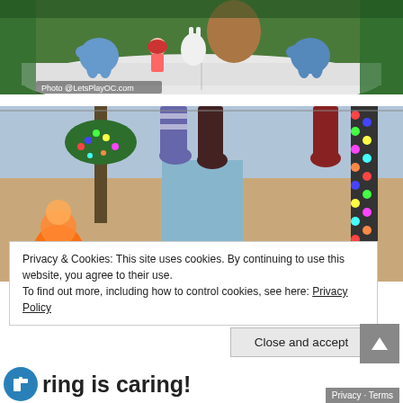[Figure (photo): Outdoor display featuring stuffed toy characters (blue elephant, red-haired doll, white rabbit, monster) arranged on a large open book prop surrounded by greenery. Photo credit: Photo @LetsPlayOC.com]
[Figure (photo): Holiday/Christmas themed outdoor scene with palm trees and columns wrapped in colorful string lights, hanging Christmas stockings overhead, lit figurines including glowing orange snowman, rocky canyon backdrop visible in background]
Privacy & Cookies: This site uses cookies. By continuing to use this website, you agree to their use. To find out more, including how to control cookies, see here: Privacy Policy
Close and accept
ring is caring!
Privacy · Terms